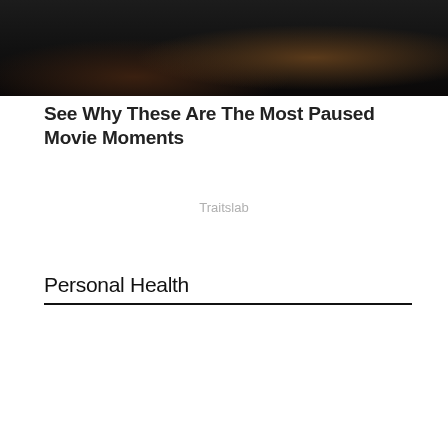[Figure (photo): Dark cinematic photo showing what appears to be gym equipment or movie scene elements against a very dark background]
See Why These Are The Most Paused Movie Moments
Traitslab
Personal Health